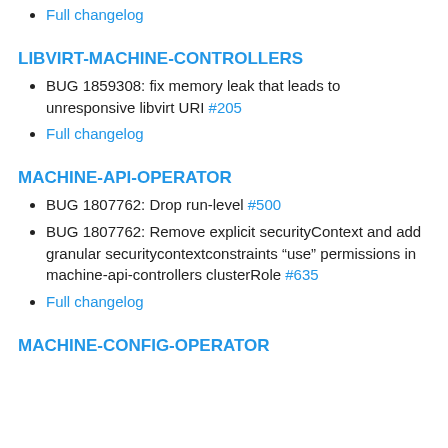Full changelog
LIBVIRT-MACHINE-CONTROLLERS
BUG 1859308: fix memory leak that leads to unresponsive libvirt URI #205
Full changelog
MACHINE-API-OPERATOR
BUG 1807762: Drop run-level #500
BUG 1807762: Remove explicit securityContext and add granular securitycontextconstraints “use” permissions in machine-api-controllers clusterRole #635
Full changelog
MACHINE-CONFIG-OPERATOR